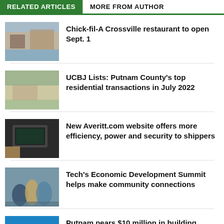RELATED ARTICLES | MORE FROM AUTHOR
Chick-fil-A Crossville restaurant to open Sept. 1
UCBJ Lists: Putnam County's top residential transactions in July 2022
New Averitt.com website offers more efficiency, power and security to shippers
Tech's Economic Development Summit helps make community connections
Putnam nears $10 million in building